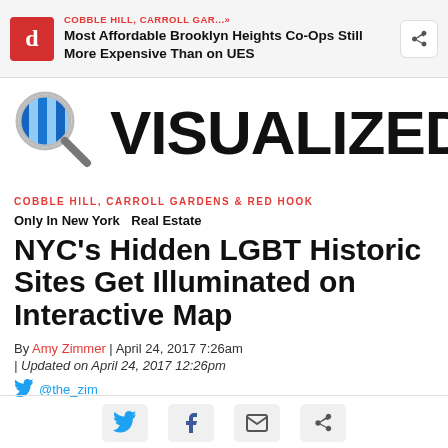COBBLE HILL, CARROLL GAR...» Most Affordable Brooklyn Heights Co-Ops Still More Expensive Than on UES
[Figure (logo): Streeteasy Visualized banner with magnifying glass logo and large VISUALIZED text]
COBBLE HILL, CARROLL GARDENS & RED HOOK
Only In New York   Real Estate
NYC's Hidden LGBT Historic Sites Get Illuminated on Interactive Map
By Amy Zimmer | April 24, 2017 7:26am
| Updated on April 24, 2017 12:26pm
@the_zim